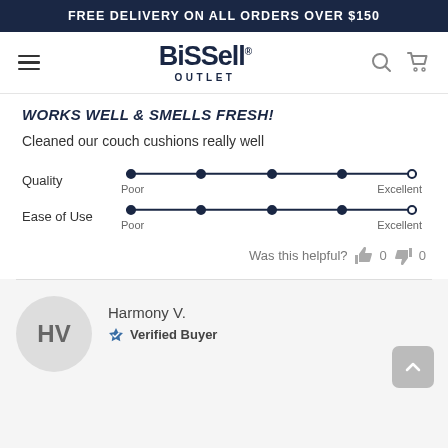FREE DELIVERY ON ALL ORDERS OVER $150
[Figure (logo): Bissell Outlet logo with hamburger menu, search and cart icons]
WORKS WELL & SMELLS FRESH!
Cleaned our couch cushions really well
Quality rating: Poor to Excellent scale, 4 out of 5 filled
Ease of Use rating: Poor to Excellent scale, 4 out of 5 filled
Was this helpful? 0 thumbs up, 0 thumbs down
Harmony V. — Verified Buyer